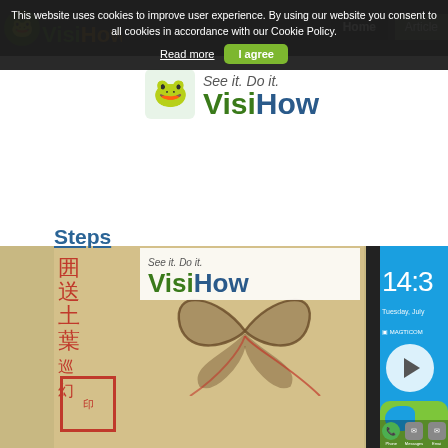[Figure (screenshot): VisiHow website screenshot showing cookie consent bar at the top, VisiHow logo, navigation buttons (Home, Articles), a 'Steps' heading, and a split image showing a decorative paper with butterfly art and a smartphone lock screen showing 14:3x time, Tuesday July, MAGTICOM carrier, Phone/Messages/Email icons]
This website uses cookies to improve user experience. By using our website you consent to all cookies in accordance with our Cookie Policy.
Read more
I agree
Home
Articles
Steps